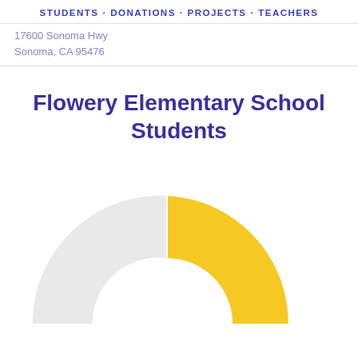STUDENTS · DONATIONS · PROJECTS · TEACHERS
17600 Sonoma Hwy
Sonoma, CA 95476
Flowery Elementary School Students
[Figure (donut-chart): Donut chart showing student breakdown. One large golden/yellow segment occupying roughly 55% and a light gray segment occupying roughly 45%. The chart is partially cropped at the bottom of the page.]